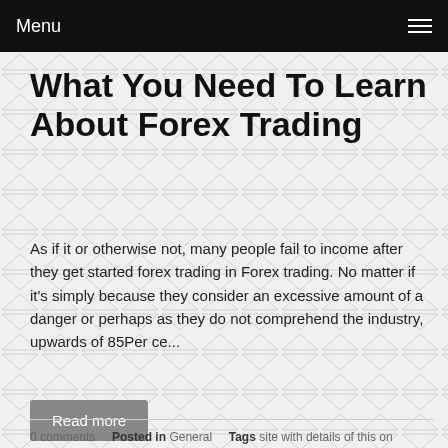Menu
What You Need To Learn About Forex Trading
As if it or otherwise not, many people fail to income after they get started forex trading in Forex trading. No matter if it's simply because they consider an excessive amount of a danger or perhaps as they do not comprehend the industry, upwards of 85Per ce...
Read more
0 comments   Posted in General   Tags site with details of this on